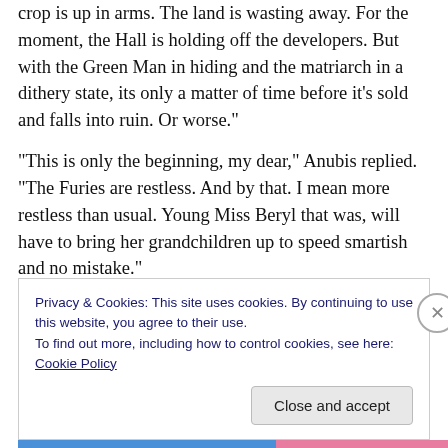crop is up in arms. The land is wasting away. For the moment, the Hall is holding off the developers. But with the Green Man in hiding and the matriarch in a dithery state, its only a matter of time before it’s sold and falls into ruin. Or worse.”
“This is only the beginning, my dear,” Anubis replied. “The Furies are restless. And by that. I mean more restless than usual. Young Miss Beryl that was, will have to bring her grandchildren up to speed smartish and no mistake.”
“They arrive next week,” Feathers grumbled, “if the old
Privacy & Cookies: This site uses cookies. By continuing to use this website, you agree to their use.
To find out more, including how to control cookies, see here: Cookie Policy
Close and accept